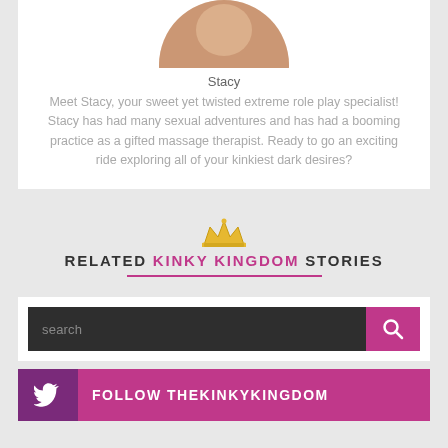[Figure (photo): Circular cropped profile photo of Stacy, partially visible at top]
Stacy
Meet Stacy, your sweet yet twisted extreme role play specialist! Stacy has had many sexual adventures and has had a booming practice as a gifted massage therapist. Ready to go an exciting ride exploring all of your kinkiest dark desires?
RELATED KINKY KINGDOM STORIES
search
FOLLOW THEKINKYKINGDOM